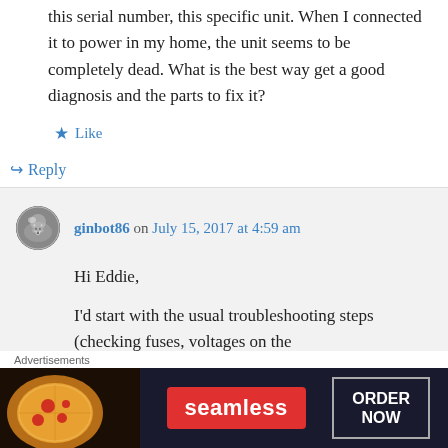this serial number, this specific unit. When I connected it to power in my home, the unit seems to be completely dead. What is the best way get a good diagnosis and the parts to fix it?
★ Like
↪ Reply
ginbot86 on July 15, 2017 at 4:59 am
Hi Eddie,
I'd start with the usual troubleshooting steps (checking fuses, voltages on the
Advertisements
[Figure (other): Seamless food delivery advertisement banner with pizza image, red Seamless logo, and ORDER NOW button]